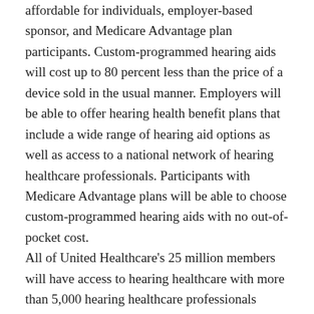affordable for individuals, employer-based sponsor, and Medicare Advantage plan participants. Custom-programmed hearing aids will cost up to 80 percent less than the price of a device sold in the usual manner. Employers will be able to offer hearing health benefit plans that include a wide range of hearing aid options as well as access to a national network of hearing healthcare professionals. Participants with Medicare Advantage plans will be able to choose custom-programmed hearing aids with no out-of-pocket cost. All of United Healthcare's 25 million members will have access to hearing healthcare with more than 5,000 hearing healthcare professionals participating in the plan. The plan, which is known as UnitedHealthcare Hearing, is a merger between the largest provider of hearing insurance, EPIC hearing healthcare, and HealthInnovations, which is a direct-to-consumer provider of hearing aids. The company provides this as an efficient yet innovative way the